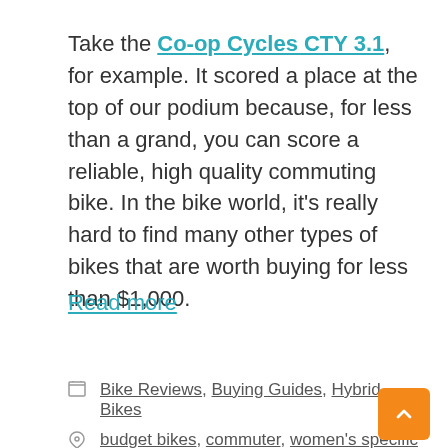Take the Co-op Cycles CTY 3.1, for example. It scored a place at the top of our podium because, for less than a grand, you can score a reliable, high quality commuting bike. In the bike world, it's really hard to find many other types of bikes that are worth buying for less than $1,000.
Read more
Bike Reviews, Buying Guides, Hybrid Bikes
budget bikes, commuter, women's specific
Get Stoked! 7 Rad BMX Bikes for Ripping and Shredding